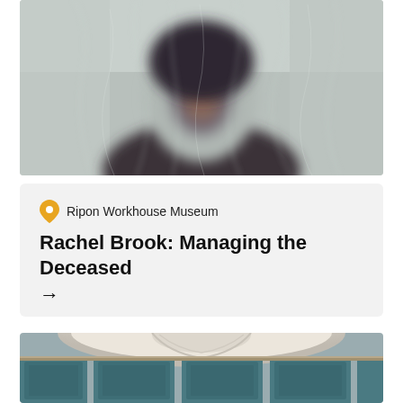[Figure (photo): A blurred face pressed against or viewed through crinkled clear plastic wrap, with a muted grey-blue background. The image is artistic and somewhat eerie.]
Ripon Workhouse Museum
Rachel Brook: Managing the Deceased
→
[Figure (photo): Partial view of an ornate interior architectural space showing a decorative white plasterwork arch/moulding above teal/blue-painted panelling with raised rectangular panels, suggesting a Victorian or Georgian building interior.]